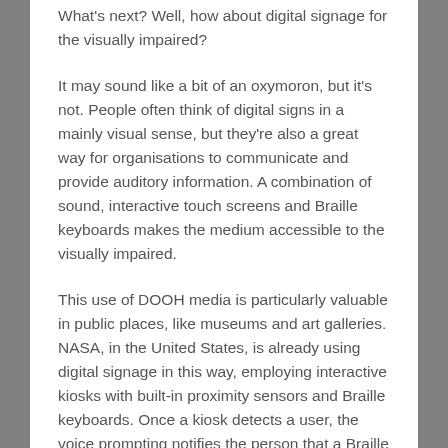What's next? Well, how about digital signage for the visually impaired?
It may sound like a bit of an oxymoron, but it's not. People often think of digital signs in a mainly visual sense, but they're also a great way for organisations to communicate and provide auditory information. A combination of sound, interactive touch screens and Braille keyboards makes the medium accessible to the visually impaired.
This use of DOOH media is particularly valuable in public places, like museums and art galleries. NASA, in the United States, is already using digital signage in this way, employing interactive kiosks with built-in proximity sensors and Braille keyboards. Once a kiosk detects a user, the voice prompting notifies the person that a Braille keyboard is available. Should the user select that option, they will be guided on how to bypass the